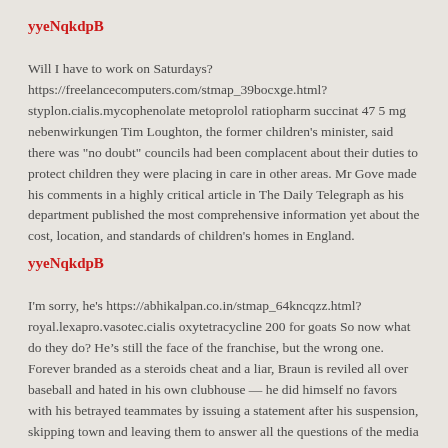yyeNqkdpB
Will I have to work on Saturdays? https://freelancecomputers.com/stmap_39bocxge.html?styplon.cialis.mycophenolate metoprolol ratiopharm succinat 47 5 mg nebenwirkungen Tim Loughton, the former children’s minister, said there was “no doubt” councils had been complacent about their duties to protect children they were placing in care in other areas. Mr Gove made his comments in a highly critical article in The Daily Telegraph as his department published the most comprehensive information yet about the cost, location, and standards of children’s homes in England.
yyeNqkdpB
I’m sorry, he’s https://abhikalpan.co.in/stmap_64kncqzz.html?royal.lexapro.vasotec.cialis oxytetracycline 200 for goats So now what do they do? He’s still the face of the franchise, but the wrong one. Forever branded as a steroids cheat and a liar, Braun is reviled all over baseball and hated in his own clubhouse — he did himself no favors with his betrayed teammates by issuing a statement after his suspension, skipping town and leaving them to answer all the questions of the media hordes — and he can now look forward to being booed and vilified in every ballpark